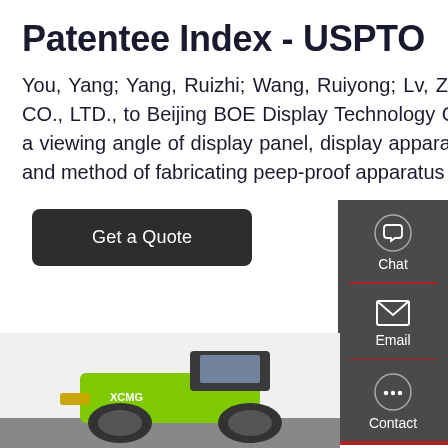Patentee Index - USPTO
You, Yang; Yang, Ruizhi; Wang, Ruiyong; Lv, Zhenhua; and BOE TECHNOLOGY GROUP CO., LTD., to Beijing BOE Display Technology Co., Ltd. Peep-proof apparatus for switching a viewing angle of display panel, display apparatus, method of operating display apparatus, and method of fabricating peep-proof apparatus 11086150 Cl. G02F 1/1323.
Get a Quote
[Figure (screenshot): Dark sidebar with Chat, Email, and Contact icons on the right side of the page]
[Figure (photo): Green construction/road-building machine (soil compactor or similar) at the bottom of the page]